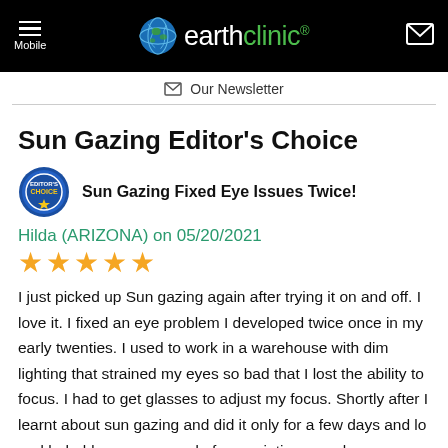earthclinic® — Mobile | Our Newsletter
Sun Gazing Editor's Choice
Sun Gazing Fixed Eye Issues Twice!
Hilda (ARIZONA) on 05/20/2021
★★★★★
I just picked up Sun gazing again after trying it on and off. I love it. I fixed an eye problem I developed twice once in my early twenties. I used to work in a warehouse with dim lighting that strained my eyes so bad that I lost the ability to focus. I had to get glasses to adjust my focus. Shortly after I learnt about sun gazing and did it only for a few days and lo and behold, no more need of prescription eye glasses. Then a decade later, I took a job that required intense eye